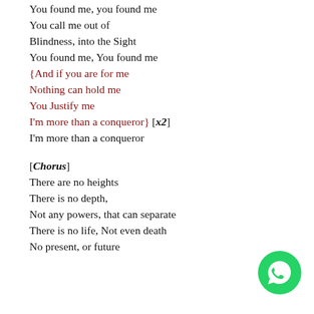You found me, you found me
You call me out of
Blindness, into the Sight
You found me, You found me
{And if you are for me
Nothing can hold me
You Justify me
I'm more than a conqueror} [x2]
I'm more than a conqueror
[Chorus]
There are no heights
There is no depth,
Not any powers, that can separate
There is no life, Not even death
No present, or future
[Figure (logo): WhatsApp logo green circle with phone icon]